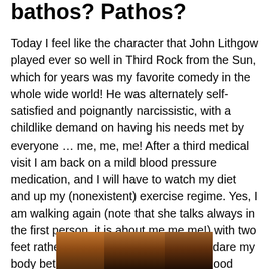bathos? Pathos?
Today I feel like the character that John Lithgow played ever so well in Third Rock from the Sun, which for years was my favorite comedy in the whole wide world! He was alternately self-satisfied and poignantly narcissistic, with a childlike demand on having his needs met by everyone … me, me, me! After a third medical visit I am back on a mild blood pressure medication, and I will have to watch my diet and up my (nonexistent) exercise regime. Yes, I am walking again (note that she talks always in the first person, it is about me me me!) with two feet rather than a booted foot, but how dare my body betray me when I always feed it good organic foods, more green than is contained in the Federal vaults, and plenty of good filtered water! Arrgghh…
[Figure (photo): A dark photograph, partially visible at the bottom of the page, showing warm brown and dark tones.]